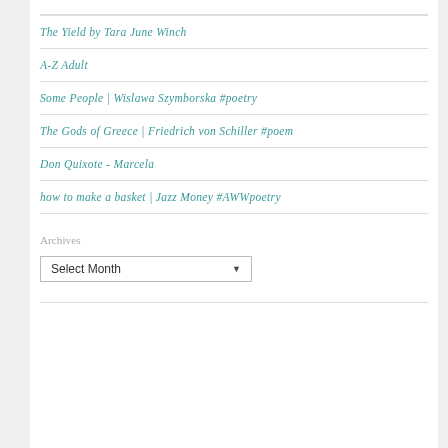The Yield by Tara June Winch
A-Z Adult
Some People | Wislawa Szymborska #poetry
The Gods of Greece | Friedrich von Schiller #poem
Don Quixote - Marcela
how to make a basket | Jazz Money #AWWpoetry
Archives